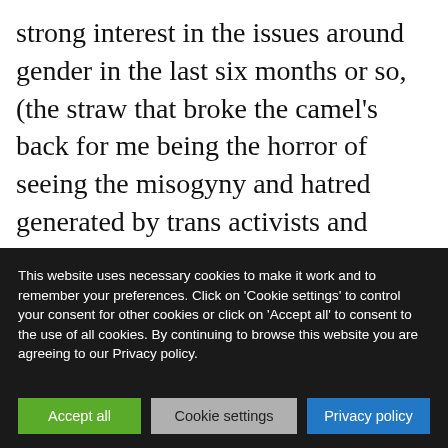strong interest in the issues around gender in the last six months or so, (the straw that broke the camel's back for me being the horror of seeing the misogyny and hatred generated by trans activists and documented on the terf is a slur website), this was to be the first time
This website uses necessary cookies to make it work and to remember your preferences. Click on 'Cookie settings' to control your consent for other cookies or click on 'Accept all' to consent to the use of all cookies. By continuing to browse this website you are agreeing to our Privacy policy.